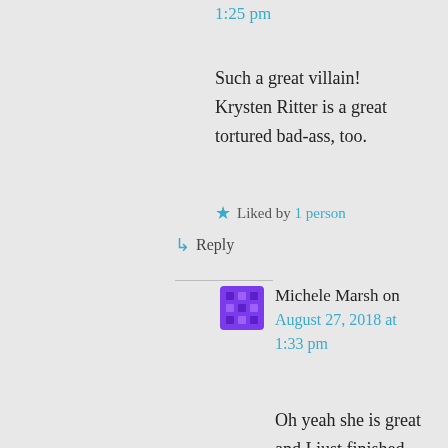1:25 pm
Such a great villain! Krysten Ritter is a great tortured bad-ass, too.
Liked by 1 person
↳ Reply
Michele Marsh on August 27, 2018 at 1:33 pm
Oh yeah she is great and I just finished the episode where Kilgrave forced her to